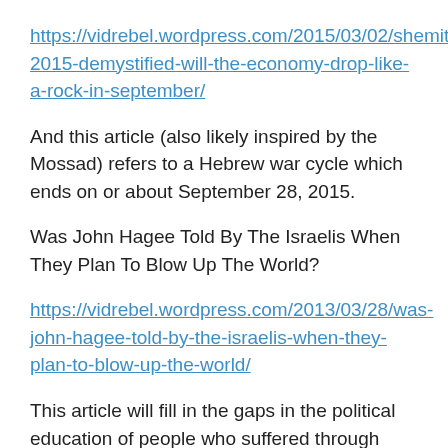https://vidrebel.wordpress.com/2015/03/02/shemitah-2015-demystified-will-the-economy-drop-like-a-rock-in-september/
And this article (also likely inspired by the Mossad) refers to a Hebrew war cycle which ends on or about September 28, 2015.
Was John Hagee Told By The Israelis When They Plan To Blow Up The World?
https://vidrebel.wordpress.com/2013/03/28/was-john-hagee-told-by-the-israelis-when-they-plan-to-blow-up-the-world/
This article will fill in the gaps in the political education of people who suffered through public schools.